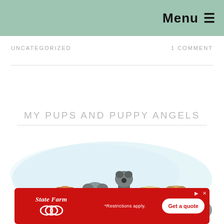Menu ≡
UNCATEGORIZED
1 COMMENT
MY PUPS AND PUPPY ANGELS
[Figure (illustration): Cartoon illustration of a group of cute dogs and puppies in various colors (gray, orange, yellow, tan, blue-gray) gathered together against a light blue watercolor background wash.]
[Figure (infographic): State Farm advertisement banner with red background, State Farm logo (white text italic and three oval circles), text '*Restrictions apply.' in center, and white rounded button 'Get a quote' in red text on the right.]